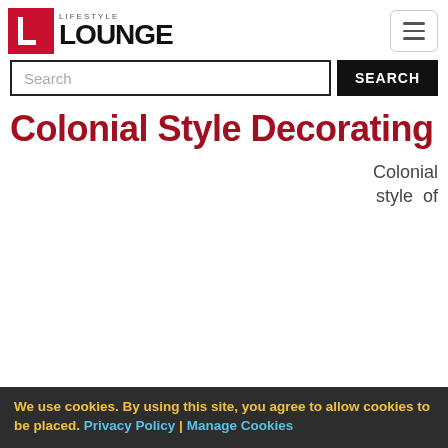Lifestyle Lounge
Search
Colonial Style Decorating
Colonial style of
We use cookies. By using this site, you agree to allow cookies to be placed. Privacy Policy | Manage Cookies